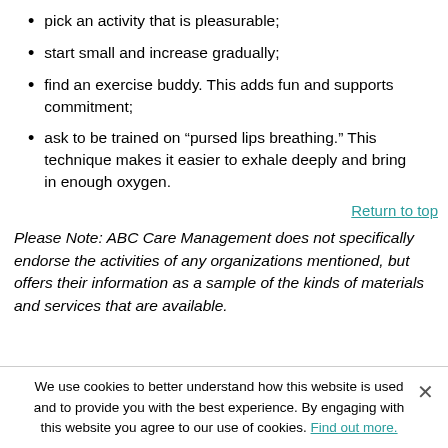pick an activity that is pleasurable;
start small and increase gradually;
find an exercise buddy. This adds fun and supports commitment;
ask to be trained on “pursed lips breathing.” This technique makes it easier to exhale deeply and bring in enough oxygen.
Return to top
Please Note: ABC Care Management does not specifically endorse the activities of any organizations mentioned, but offers their information as a sample of the kinds of materials and services that are available.
We use cookies to better understand how this website is used and to provide you with the best experience. By engaging with this website you agree to our use of cookies. Find out more.